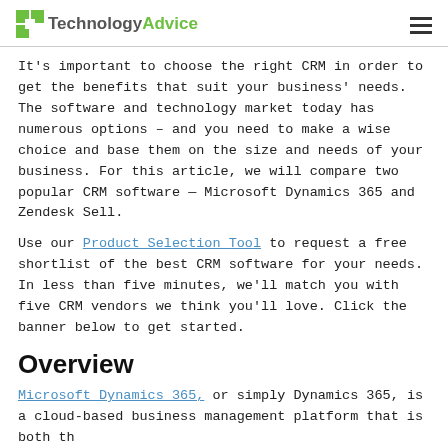TechnologyAdvice
It's important to choose the right CRM in order to get the benefits that suit your business' needs. The software and technology market today has numerous options – and you need to make a wise choice and base them on the size and needs of your business. For this article, we will compare two popular CRM software — Microsoft Dynamics 365 and Zendesk Sell.
Use our Product Selection Tool to request a free shortlist of the best CRM software for your needs. In less than five minutes, we'll match you with five CRM vendors we think you'll love. Click the banner below to get started.
Overview
Microsoft Dynamics 365, or simply Dynamics 365, is a cloud-based business management platform that is both...